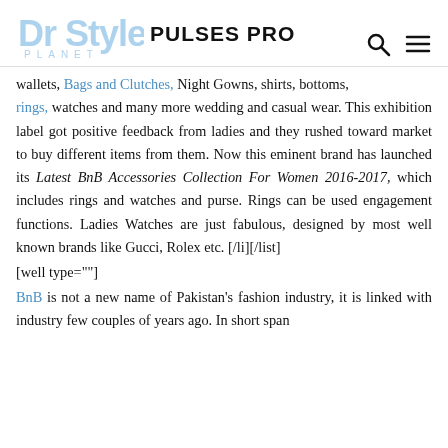Dr Style Planet — PULSES PRO
Wallets, Bags and Clutches, Night Gowns, shirts, bottoms, rings, watches and many more wedding and casual wear. This exhibition label got positive feedback from ladies and they rushed toward market to buy different items from them. Now this eminent brand has launched its Latest BnB Accessories Collection For Women 2016-2017, which includes rings and watches and purse. Rings can be used engagement functions. Ladies Watches are just fabulous, designed by most well known brands like Gucci, Rolex etc. [/li][/list]
[well type=""]
BnB is not a new name of Pakistan's fashion industry, it is linked with industry few couples of years ago. In short span